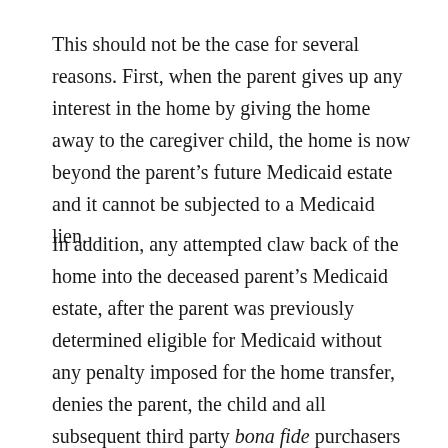This should not be the case for several reasons. First, when the parent gives up any interest in the home by giving the home away to the caregiver child, the home is now beyond the parent's future Medicaid estate and it cannot be subjected to a Medicaid lien.
In addition, any attempted claw back of the home into the deceased parent's Medicaid estate, after the parent was previously determined eligible for Medicaid without any penalty imposed for the home transfer, denies the parent, the child and all subsequent third party bona fide purchasers of the home for value from the child, of due process without notice and an opportunity to be heard. As a policy matter, these results are very troubling because of the loss of